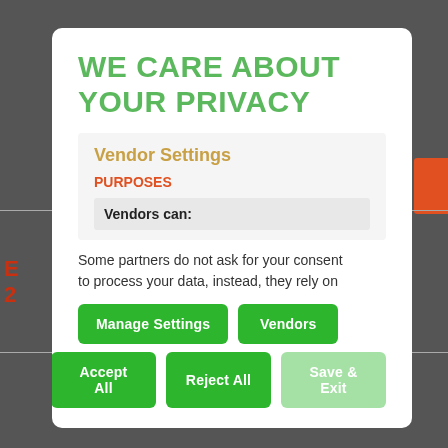WE CARE ABOUT YOUR PRIVACY
Vendor Settings
PURPOSES
Vendors can:
Some partners do not ask for your consent to process your data, instead, they rely on
[Figure (screenshot): Cookie consent modal with buttons: Manage Settings, Vendors, Accept All, Reject All, Save & Exit]